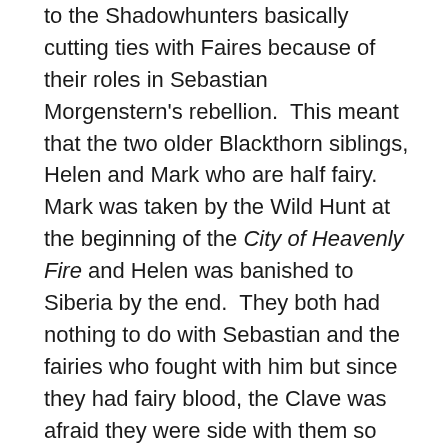to the Shadowhunters basically cutting ties with Faires because of their roles in Sebastian Morgenstern's rebellion.  This meant that the two older Blackthorn siblings, Helen and Mark who are half fairy.  Mark was taken by the Wild Hunt at the beginning of the City of Heavenly Fire and Helen was banished to Siberia by the end.  They both had nothing to do with Sebastian and the fairies who fought with him but since they had fairy blood, the Clave was afraid they were side with them so they banished one and abandoned another.  So basically because of the actions of a few, everyone like them are punished.  (Does that sound familiar to anyone?)  Emma's parents were found dead with strange markings, blamed on  Sebastian's rebellion even though their deaths resemble nothing that he or his followers did before or after.  Emma is convinced that their death is not related and their killers are still out there but the Clave have shut